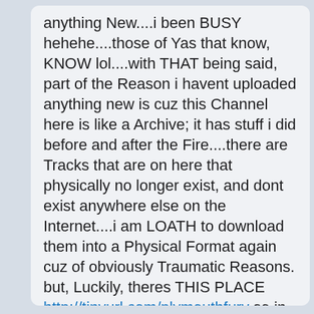anything New....i been BUSY hehehe....those of Yas that know, KNOW lol....with THAT being said, part of the Reason i havent uploaded anything new is cuz this Channel here is like a Archive; it has stuff i did before and after the Fire....there are Tracks that are on here that physically no longer exist, and dont exist anywhere else on the Internet....i am LOATH to download them into a Physical Format again cuz of obviously Traumatic Reasons. but, Luckily, theres THIS PLACE http://tinyurl.com/plymouthfury so in order to give u guys some of the new stuff ima download some of them old Songs from this Beloved Haven and reload them on UGE in Video Format, thus Preserving them for Forever cuz them Patriots dont PLAY hehehe....new Musique coming soon to my Channel but FIRST...the PURGE. this is the